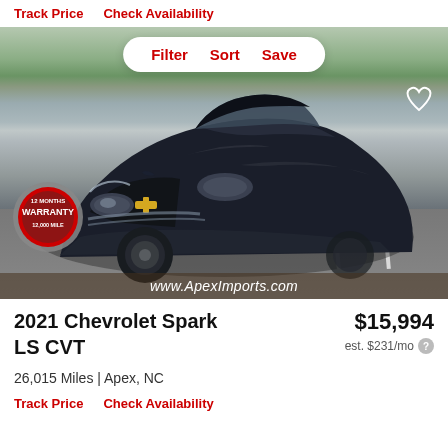Track Price   Check Availability
[Figure (photo): Black 2021 Chevrolet Spark LS CVT parked in a parking lot, front 3/4 view. A warranty badge reads '12 Months WARRANTY 12,000 Mile' in the lower left. A dealer URL 'www.ApexImports.com' appears at the bottom. Filter/Sort/Save toolbar and heart icon overlay the image.]
2021 Chevrolet Spark LS CVT
$15,994
est. $231/mo
26,015 Miles | Apex, NC
Track Price   Check Availability